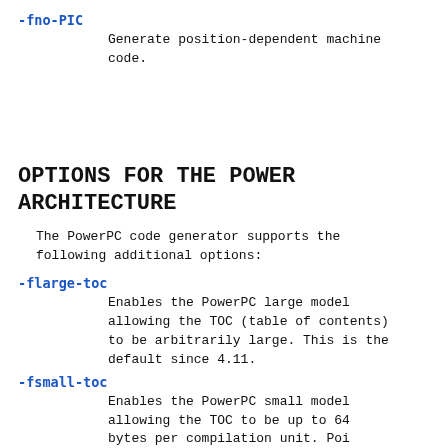-fno-PIC
        Generate position-dependent machine code.
OPTIONS FOR THE POWER ARCHITECTURE
The PowerPC code generator supports the following additional options:
-flarge-toc
        Enables the PowerPC large model allowing the TOC (table of contents) to be arbitrarily large. This is the default since 4.11.
-fsmall-toc
        Enables the PowerPC small model allowing the TOC to be up to 64 bytes per compilation unit. Poi…